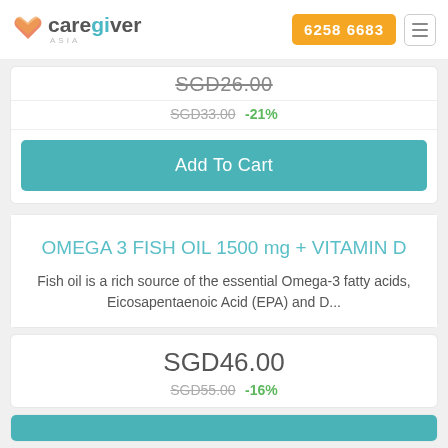CareGiver Asia — 6258 6683
SGD26.00
SGD33.00 -21%
Add To Cart
OMEGA 3 FISH OIL 1500 mg + VITAMIN D
Fish oil is a rich source of the essential Omega-3 fatty acids, Eicosapentaenoic Acid (EPA) and D...
SGD46.00
SGD55.00 -16%